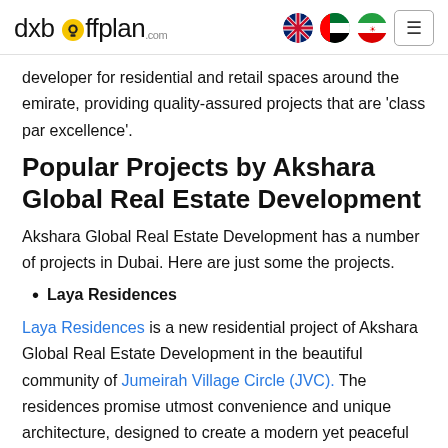dxboffplan.com
developer for residential and retail spaces around the emirate, providing quality-assured projects that are 'class par excellence'.
Popular Projects by Akshara Global Real Estate Development
Akshara Global Real Estate Development has a number of projects in Dubai. Here are just some the projects.
Laya Residences
Laya Residences is a new residential project of Akshara Global Real Estate Development in the beautiful community of Jumeirah Village Circle (JVC). The residences promise utmost convenience and unique architecture, designed to create a modern yet peaceful ambience. The residences are also